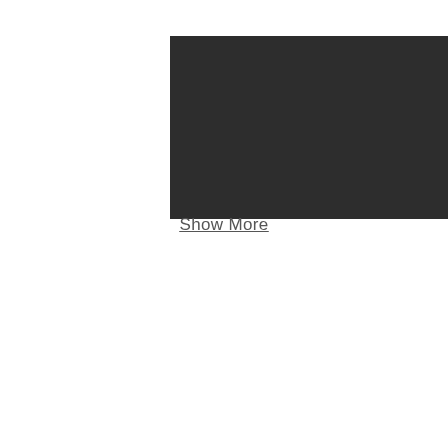[Figure (other): Dark rectangular image placeholder, approximately 278x183px with dark charcoal background]
Show More